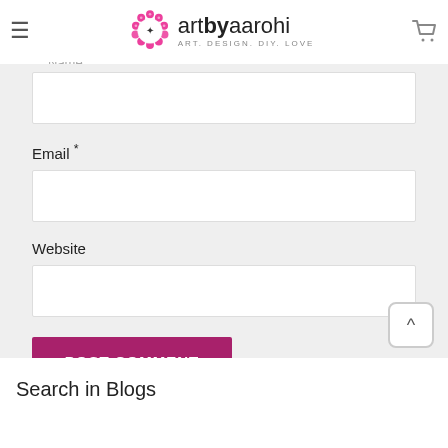artbyaarohi — ART. DESIGN. DIY. LOVE
Name *
Email *
Website
POST COMMENT
Search in Blogs